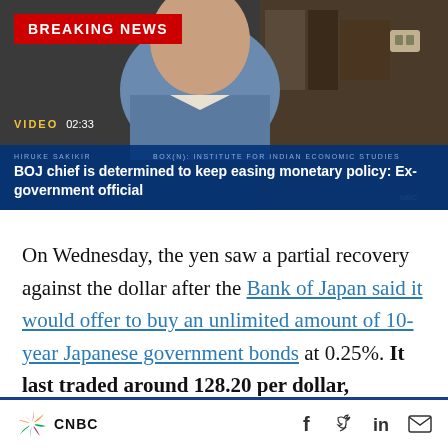[Figure (screenshot): CNBC video screenshot of a man in a blue blazer with 'BREAKING NEWS' banner, video timestamp 02:33, headline overlay: BOJ chief is determined to keep easing monetary policy: Ex-government official]
On Wednesday, the yen saw a partial recovery against the dollar after the Bank of Japan said it would offer to buy an unlimited amount of 10-year Japanese government bonds at 0.25%. It last traded around 128.20 per dollar, representing a more than 5% slide against the greenback so far this month.
CNBC [logo] [Facebook] [Twitter] [LinkedIn] [Email]